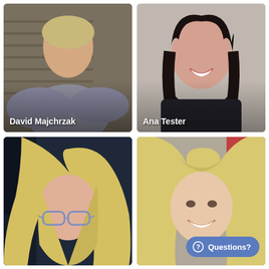[Figure (photo): Headshot of David Majchrzak, male with short blonde hair, outdoor building background]
[Figure (photo): Headshot of Ana Tester, female with long dark hair, smiling, grey background]
[Figure (photo): Headshot of blonde woman with glasses, in a car]
[Figure (photo): Headshot of smiling blonde woman, indoor background with Questions? chat button overlay]